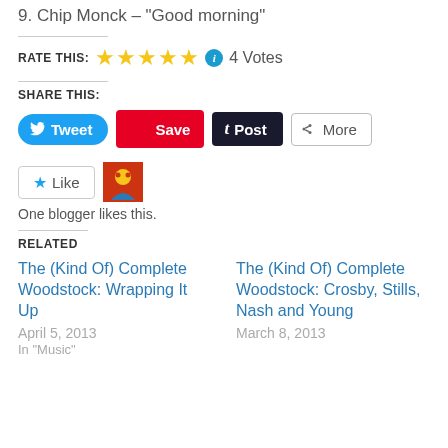9. Chip Monck – "Good morning"
RATE THIS: ★★★★★ i 4 Votes
SHARE THIS:
Tweet | Save | Post | More
Like | One blogger likes this.
RELATED
The (Kind Of) Complete Woodstock: Wrapping It Up
April 5, 2013
In "Music"
The (Kind Of) Complete Woodstock: Crosby, Stills, Nash and Young
March 8, 2013